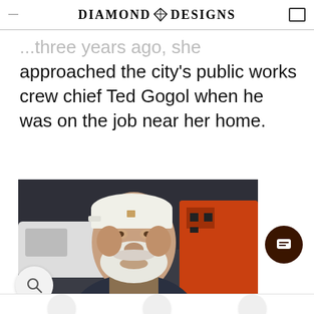DIAMOND DESIGNS
...three years ago, she approached the city's public works crew chief Ted Gogol when he was on the job near her home.
[Figure (photo): An older man with a white beard wearing a white baseball cap and a dark jacket, standing in front of industrial equipment including an orange machine in what appears to be a warehouse or work facility.]